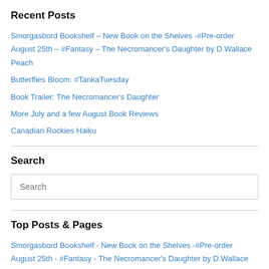Recent Posts
Smorgasbord Bookshelf – New Book on the Shelves -#Pre-order August 25th – #Fantasy – The Necromancer's Daughter by D.Wallace Peach
Butterflies Bloom: #TankaTuesday
Book Trailer: The Necromancer's Daughter
More July and a few August Book Reviews
Canadian Rockies Haiku
Search
Search
Top Posts & Pages
Smorgasbord Bookshelf - New Book on the Shelves -#Pre-order August 25th - #Fantasy - The Necromancer's Daughter by D.Wallace Peach
Canadian Rockies Haiku